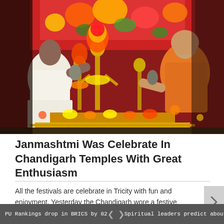[Figure (photo): A Hindu religious ceremony showing two men - one in white dhoti and one in saffron robes - performing a ritual (abhishek) on golden deity statues decorated with flowers and colorful ornaments, at a temple during Janmashtami celebration.]
Janmashtmi Was Celebrate In Chandigarh Temples With Great Enthusiasm
All the festivals are celebrate in Tricity with fun and enjoyment. Yesterday the Chandigarh wore a festive appearance for...
PU Rankings drop in BRICS by 82   <   >   Spiritual leaders predict about t...